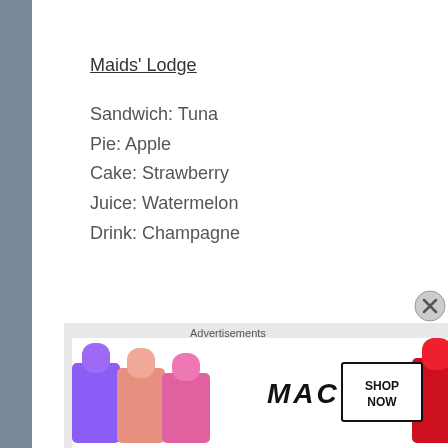Maids' Lodge
Sandwich: Tuna
Pie: Apple
Cake: Strawberry
Juice: Watermelon
Drink: Champagne
◇+°◇+°◇+°◇+°◇+°◇
Lynna Jorcastle
Advertisements
[Figure (photo): MAC cosmetics advertisement showing lipsticks in purple, pink/salmon, pink, and red colors with MAC logo and SHOP NOW button]